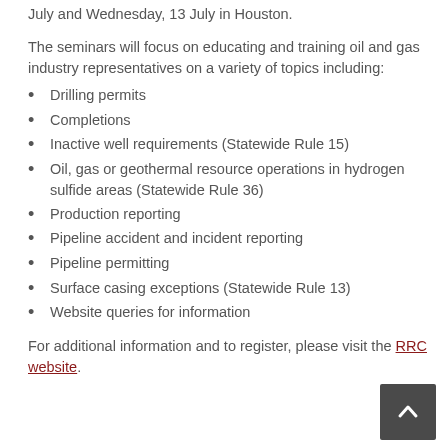July and Wednesday, 13 July in Houston.
The seminars will focus on educating and training oil and gas industry representatives on a variety of topics including:
Drilling permits
Completions
Inactive well requirements (Statewide Rule 15)
Oil, gas or geothermal resource operations in hydrogen sulfide areas (Statewide Rule 36)
Production reporting
Pipeline accident and incident reporting
Pipeline permitting
Surface casing exceptions (Statewide Rule 13)
Website queries for information
For additional information and to register, please visit the RRC website.